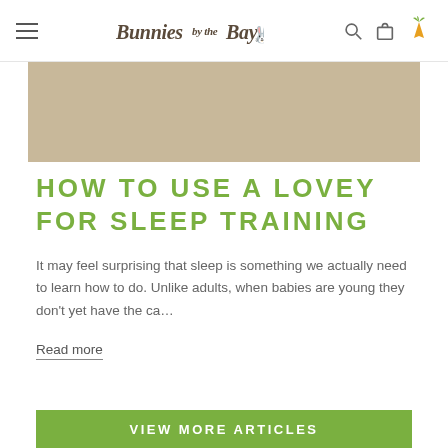Bunnies by the Bay
[Figure (photo): Tan/beige rectangular image placeholder area for a blog article header image]
HOW TO USE A LOVEY FOR SLEEP TRAINING
It may feel surprising that sleep is something we actually need to learn how to do. Unlike adults, when babies are young they don't yet have the ca…
Read more
VIEW MORE ARTICLES